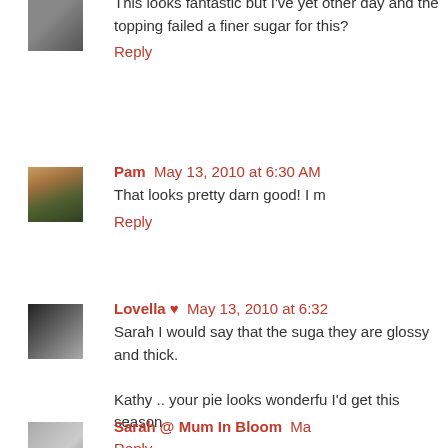[Figure (photo): Avatar image - diagonal striped pattern]
This looks fantastic but I've yet other day and the topping failed a finer sugar for this?
Reply
[Figure (photo): Avatar image - autumn forest path]
Pam  May 13, 2010 at 6:30 AM
That looks pretty darn good! I m
Reply
[Figure (photo): Avatar image - couple in black and white photo]
Lovella ♥  May 13, 2010 at 6:32
Sarah I would say that the suga they are glossy and thick.

Kathy .. your pie looks wonderfu I'd get this season.
Reply
[Figure (photo): Avatar image - partial, cut off at bottom]
Sarah @ Mum In Bloom  Ma